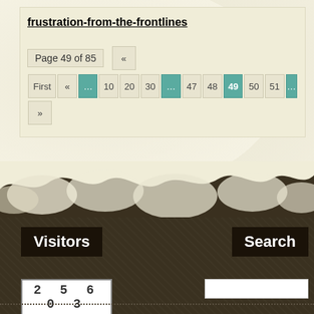frustration-from-the-frontlines
Page 49 of 85
First « ... 10 20 30 ... 47 48 49 50 51 »
Visitors
Search
2 5 6 0 3
[Figure (other): White search input box]